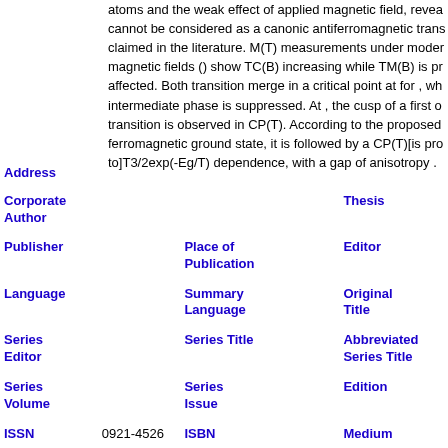atoms and the weak effect of applied magnetic field, revea cannot be considered as a canonic antiferromagnetic trans claimed in the literature. M(T) measurements under moder magnetic fields () show TC(B) increasing while TM(B) is pr affected. Both transition merge in a critical point at for , wh intermediate phase is suppressed. At , the cusp of a first o transition is observed in CP(T). According to the proposed ferromagnetic ground state, it is followed by a CP(T)[is pro to]T3/2exp(-Eg/T) dependence, with a gap of anisotropy .
| Field | Value | Field | Value | Field |
| --- | --- | --- | --- | --- |
| Address |  |  |  |  |
| Corporate Author |  |  |  | Thesis |
| Publisher |  | Place of Publication |  | Editor |
| Language |  | Summary Language |  | Original Title |
| Series Editor |  | Series Title |  | Abbreviated Series Title |
| Series Volume |  | Series Issue |  | Edition |
| ISSN | 0921-4526 | ISBN |  | Medium |
| Area |  | Expedition |  | Conference |
| Notes |  |  |  | Approved |